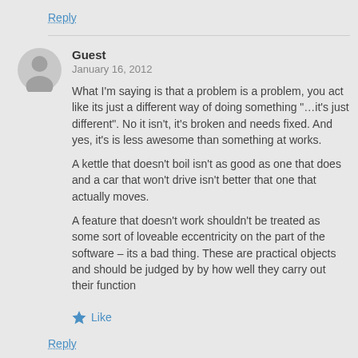Reply
[Figure (illustration): Gray circular avatar placeholder with a silhouette of a person]
Guest
January 16, 2012
What I'm saying is that a problem is a problem, you act like its just a different way of doing something "…it's just different". No it isn't, it's broken and needs fixed. And yes, it's is less awesome than something at works.
A kettle that doesn't boil isn't as good as one that does and a car that won't drive isn't better that one that actually moves.
A feature that doesn't work shouldn't be treated as some sort of loveable eccentricity on the part of the software – its a bad thing. These are practical objects and should be judged by by how well they carry out their function
Like
Reply